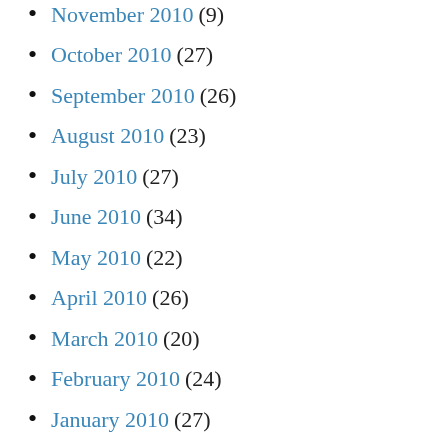November 2010 (9)
October 2010 (27)
September 2010 (26)
August 2010 (23)
July 2010 (27)
June 2010 (34)
May 2010 (22)
April 2010 (26)
March 2010 (20)
February 2010 (24)
January 2010 (27)
December 2009 (21)
November 2009 (25)
October 2009 (25)
September 2009 (28)
August 2009 (28)